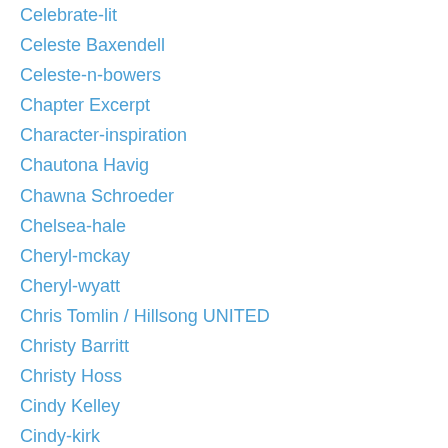Celebrate-lit
Celeste Baxendell
Celeste-n-bowers
Chapter Excerpt
Character-inspiration
Chautona Havig
Chawna Schroeder
Chelsea-hale
Cheryl-mckay
Cheryl-wyatt
Chris Tomlin / Hillsong UNITED
Christy Barritt
Christy Hoss
Cindy Kelley
Cindy-kirk
Cindy-thomson
Clara Diane Thompson
Clare Revell
Clarissa Kae
Colleen-coble
Coloring-book